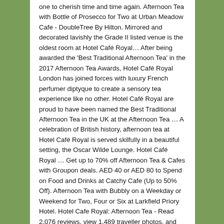one to cherish time and time again. Afternoon Tea with Bottle of Prosecco for Two at Urban Meadow Cafe - DoubleTree By Hilton. Mirrored and decorated lavishly the Grade II listed venue is the oldest room at Hotel Café Royal… After being awarded the 'Best Traditional Afternoon Tea' in the 2017 Afternoon Tea Awards, Hotel Café Royal London has joined forces with luxury French perfumer diptyque to create a sensory tea experience like no other. Hotel Café Royal are proud to have been named the Best Traditional Afternoon Tea in the UK at the Afternoon Tea … A celebration of British history, afternoon tea at Hotel Café Royal is served skilfully in a beautiful setting, the Oscar Wilde Lounge. Hotel Café Royal … Get up to 70% off Afternoon Tea & Cafes with Groupon deals. AED 40 or AED 80 to Spend on Food and Drinks at Catchy Cafe (Up to 50% Off). Afternoon Tea with Bubbly on a Weekday or Weekend for Two, Four or Six at Larkfield Priory Hotel. Hotel Cafe Royal: Afternoon Tea - Read 2,076 reviews, view 1,489 traveller photos, and find great deals for Hotel Cafe Royal at Tripadvisor. Afternoon Tea with Bottle of Prosecco for Two at Urban Meadow Cafe - DoubleTree By Hilton. Mirrored and decorated